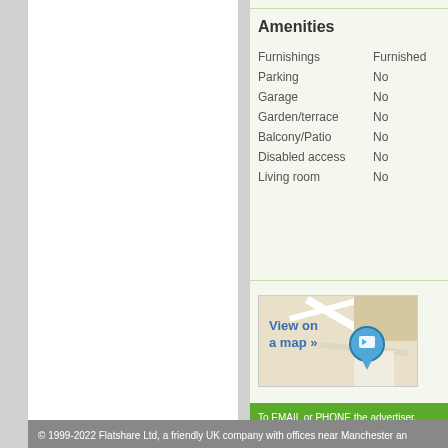Amenities
| Property | Value |
| --- | --- |
| Furnishings | Furnished |
| Parking | No |
| Garage | No |
| Garden/terrace | No |
| Balcony/Patio | No |
| Disabled access | No |
| Living room | No |
[Figure (map): View on a map link with map thumbnail showing roads and a location pin marker]
To EMAIL or PHONE the advertiser, please scroll entitled "Contact the advertiser". You can call or
© 1999-2022 Flatshare Ltd, a friendly UK company with offices near Manchester an